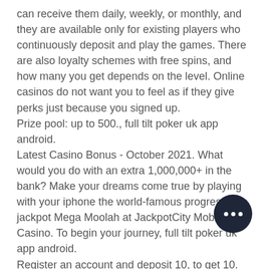can receive them daily, weekly, or monthly, and they are available only for existing players who continuously deposit and play the games. There are also loyalty schemes with free spins, and how many you get depends on the level. Online casinos do not want you to feel as if they give perks just because you signed up.
Prize pool: up to 500., full tilt poker uk app android.
Latest Casino Bonus - October 2021. What would you do with an extra 1,000,000+ in the bank? Make your dreams come true by playing with your iphone the world-famous progressive jackpot Mega Moolah at JackpotCity Mobile Casino. To begin your journey, full tilt poker uk app android.
Register an account and deposit 10, to get 10.
Permanent promo cod